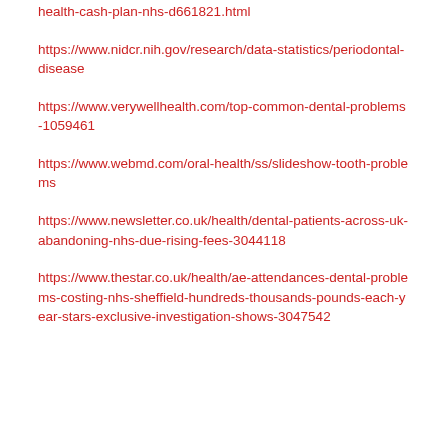health-cash-plan-nhs-d661821.html
https://www.nidcr.nih.gov/research/data-statistics/periodontal-disease
https://www.verywellhealth.com/top-common-dental-problems-1059461
https://www.webmd.com/oral-health/ss/slideshow-tooth-problems
https://www.newsletter.co.uk/health/dental-patients-across-uk-abandoning-nhs-due-rising-fees-3044118
https://www.thestar.co.uk/health/ae-attendances-dental-problems-costing-nhs-sheffield-hundreds-thousands-pounds-each-year-stars-exclusive-investigation-shows-3047542